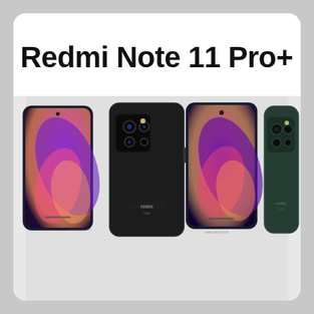Redmi Note 11 Pro+
[Figure (photo): Product photo showing multiple views of the Redmi Note 11 Pro+ smartphone: front view showing colorful wallpaper, back view in black/dark color with quad camera module, front view again, and partial back view in dark green color with camera module. The Redmi logo is visible on the back of the devices.]